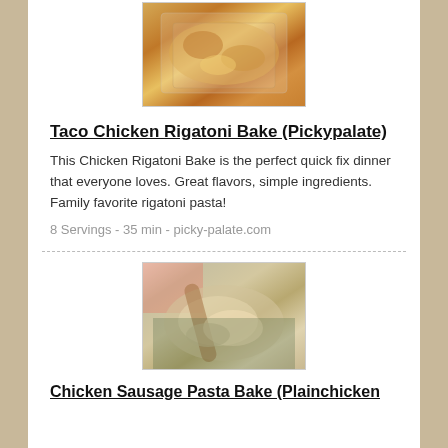[Figure (photo): A casserole dish with baked rigatoni pasta topped with melted cheese, viewed from above.]
Taco Chicken Rigatoni Bake (Pickypalate)
This Chicken Rigatoni Bake is the perfect quick fix dinner that everyone loves. Great flavors, simple ingredients. Family favorite rigatoni pasta!
8 Servings - 35 min - picky-palate.com
[Figure (photo): A close-up of creamy chicken penne pasta being scooped with a wooden spoon from a dark green baking dish.]
Chicken Sausage Pasta Bake (Plainchicken)